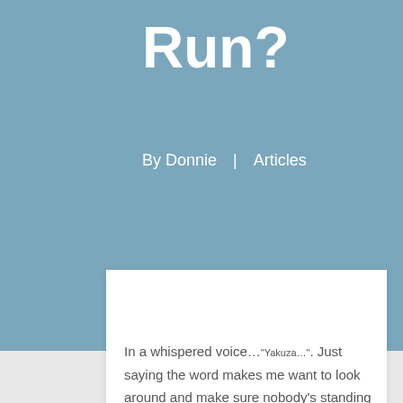Run?
By Donnie  |  Articles
In a whispered voice…“Yakuza…”. Just saying the word makes me want to look around and make sure nobody’s standing behind me. Yakuza or  is the Japanese term for the Japanese syndicate or for a Japanese mafia member. It’s a subject I have yet to